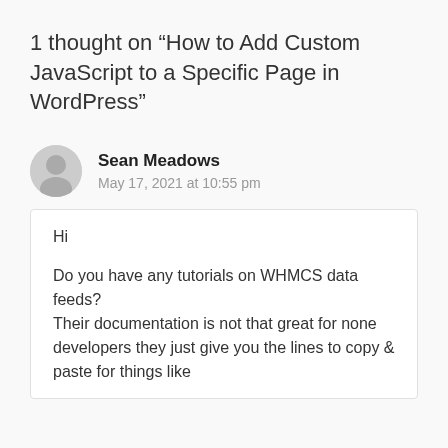1 thought on “How to Add Custom JavaScript to a Specific Page in WordPress”
Sean Meadows
May 17, 2021 at 10:55 pm
Hi

Do you have any tutorials on WHMCS data feeds?
Their documentation is not that great for none developers they just give you the lines to copy & paste for things like